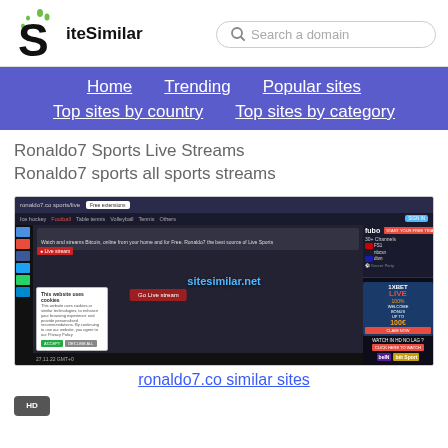[Figure (screenshot): SiteSimilar website header with logo and search box]
Home  Trending  Popular sites  Top sites by country  Top sites by category
Ronaldo7 Sports Live Streams
Ronaldo7 sports all sports streams
[Figure (screenshot): Screenshot of ronaldo7.co website showing live sports streaming interface with sidebar navigation, video player, cookie popup, and advertising sidebar]
ronaldo7.co similar sites
[Figure (other): Small gray icon at bottom left]